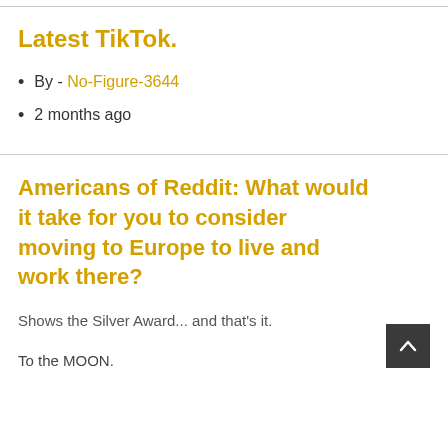Latest TikTok.
By - No-Figure-3644
2 months ago
Americans of Reddit: What would it take for you to consider moving to Europe to live and work there?
Shows the Silver Award... and that's it.
To the MOON.